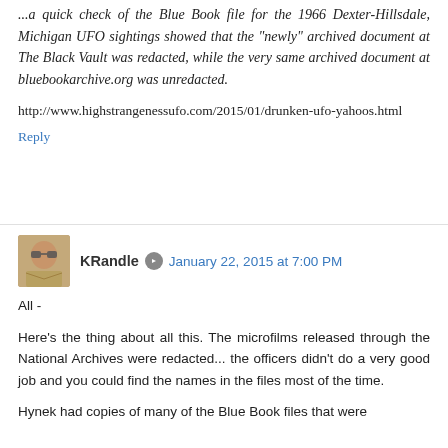...a quick check of the Blue Book file for the 1966 Dexter-Hillsdale, Michigan UFO sightings showed that the "newly" archived document at The Black Vault was redacted, while the very same archived document at bluebookarchive.org was unredacted.
http://www.highstrangenessufo.com/2015/01/drunken-ufo-yahoos.html
Reply
[Figure (photo): Avatar photo of commenter KRandle, showing a person wearing sunglasses and a khaki jacket]
KRandle  January 22, 2015 at 7:00 PM
All -
Here's the thing about all this. The microfilms released through the National Archives were redacted... the officers didn't do a very good job and you could find the names in the files most of the time.
Hynek had copies of many of the Blue Book files that were